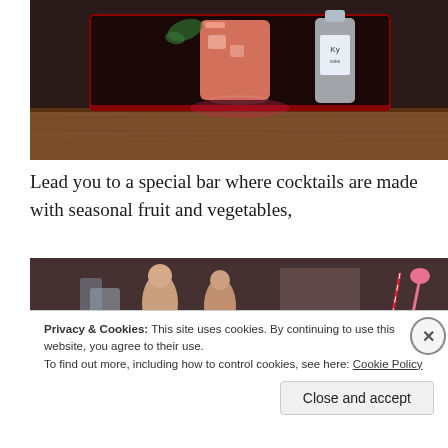[Figure (photo): A photograph of a bar tray with a pink cocktail drink and a bottle on a dark lacquered tray over a wooden bar surface.]
Lead you to a special bar where cocktails are made with seasonal fruit and vegetables,
[Figure (photo): A photograph of bar figurines and glassware on a bar counter with mirror reflections in the background.]
Privacy & Cookies: This site uses cookies. By continuing to use this website, you agree to their use.
To find out more, including how to control cookies, see here: Cookie Policy
Close and accept